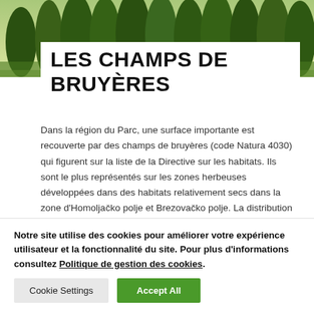[Figure (photo): Forest landscape photo banner showing green conifer trees against a bright sky]
LES CHAMPS DE BRUYÈRES
Dans la région du Parc, une surface importante est recouverte par des champs de bruyères (code Natura 4030) qui figurent sur la liste de la Directive sur les habitats. Ils sont le plus représentés sur les zones herbeuses développées dans des habitats relativement secs dans la zone d'Homoljačko polje et Brezovačko polje. La distribution en mosaïque reflète la configuration du
Notre site utilise des cookies pour améliorer votre expérience utilisateur et la fonctionnalité du site. Pour plus d'informations consultez Politique de gestion des cookies.